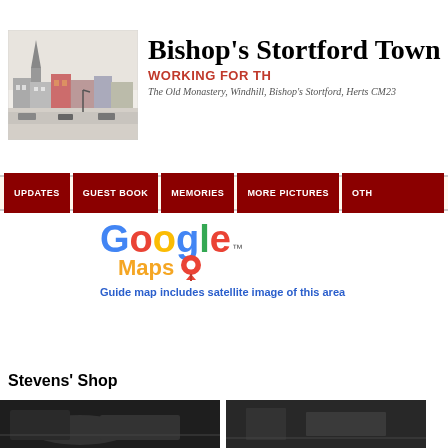[Figure (illustration): Bishop's Stortford Town Council website header with illustrated town sketch on the left, large bold serif title 'Bishop’s Stortford Town' partially visible, red subtitle 'WORKING FOR TH...' and address 'The Old Monastery, Windhill, Bishop’s Stortford, Herts CM23...']
[Figure (screenshot): Navigation bar with dark red buttons: UPDATES, GUEST BOOK, MEMORIES, MORE PICTURES, OTH...]
[Figure (logo): Google Maps logo with colorful Google text and orange Maps word with pin icon, and blue italic text 'Guide map includes satellite image of this area']
Stevens’ Shop
[Figure (photo): Two black and white photos side by side at bottom of page, partially visible]